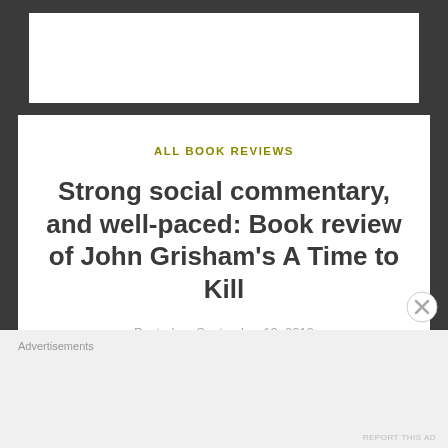ALL BOOK REVIEWS
Strong social commentary, and well-paced: Book review of John Grisham's A Time to Kill
Posted on September 19, 2019
A Time To Kill is John Grisham's first novel. It came
Advertisements